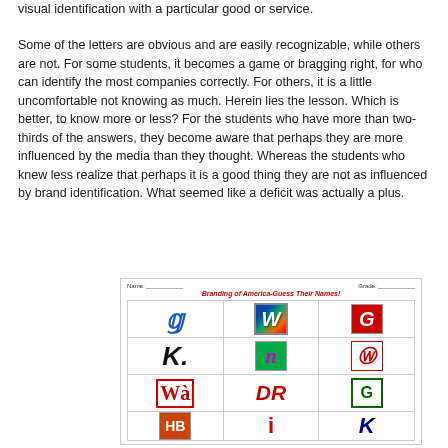visual identification with a particular good or service.
Some of the letters are obvious and are easily recognizable, while others are not. For some students, it becomes a game or bragging right, for who can identify the most companies correctly. For others, it is a little uncomfortable not knowing as much. Herein lies the lesson. Which is better, to know more or less? For the students who have more than two-thirds of the answers, they become aware that perhaps they are more influenced by the media than they thought. Whereas the students who knew less realize that perhaps it is a good thing they are not as influenced by brand identification. What seemed like a deficit was actually a plus.
[Figure (illustration): A worksheet titled 'Branding of America-Guess Their Names!' showing a 3-column grid of company logo letters including stylized G (General Mills), W (colorful), G in red box, K (Kellogg's), n in green, W (Walgreens), WW, DR, G in green box, and partial row below.]